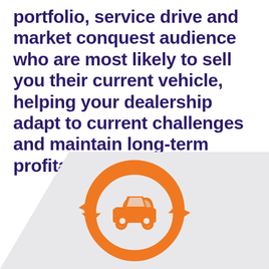portfolio, service drive and market conquest audience who are most likely to sell you their current vehicle, helping your dealership adapt to current challenges and maintain long-term profitability.
[Figure (illustration): Orange circular refresh/recycle icon with two curved arrows surrounding a small orange car silhouette, on a light gray parallelogram background]